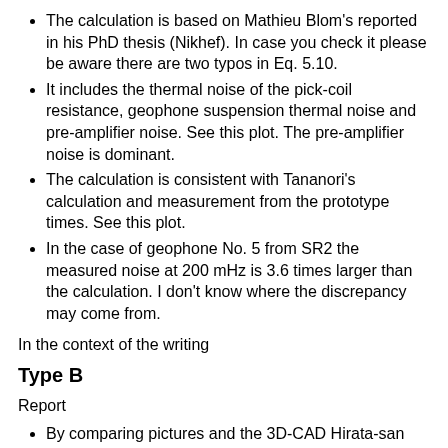The calculation is based on Mathieu Blom's reported in his PhD thesis (Nikhef). In case you check it please be aware there are two typos in Eq. 5.10.
It includes the thermal noise of the pick-coil resistance, geophone suspension thermal noise and pre-amplifier noise. See this plot. The pre-amplifier noise is dominant.
The calculation is consistent with Tananori's calculation and measurement from the prototype times. See this plot.
In the case of geophone No. 5 from SR2 the measured noise at 200 mHz is 3.6 times larger than the calculation. I don't know where the discrepancy may come from.
In the context of the writing
Type B
Report
By comparing pictures and the 3D-CAD Hirata-san realized the BS large frame is missing some beams. Saito-san remembered Mirapro was not